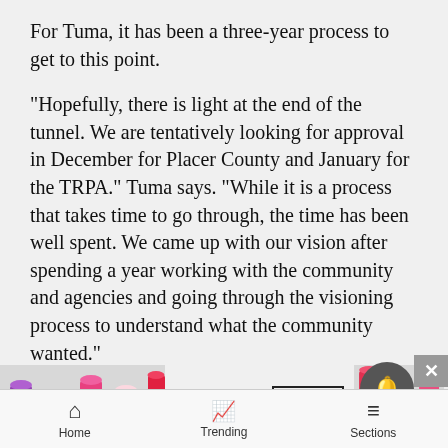For Tuma, it has been a three-year process to get to this point.
“Hopefully, there is light at the end of the tunnel. We are tentatively looking for approval in December for Placer County and January for the TRPA.” Tuma says. “While it is a process that takes time to go through, the time has been well spent. We came up with our vision after spending a year working with the community and agencies and going through the visioning process to understand what the community wanted.”
Kila Tahoe hired a commercial real estate firm to do an economic impact study, finding a $43.4 million positive… constr… in the
[Figure (photo): Advertisement banner overlay showing MAC cosmetics lipsticks and SHOP NOW button]
Home   Trending   Sections